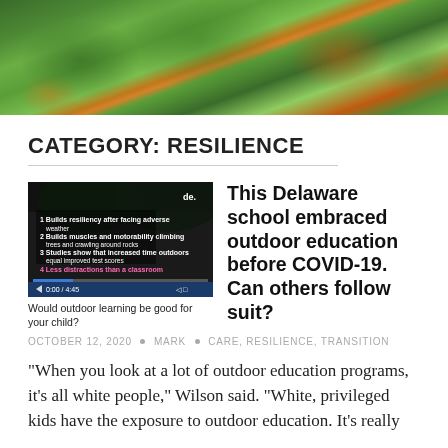[Figure (photo): Header photo of a garden with green plants and orange/red flowers]
CATEGORY: RESILIENCE
[Figure (screenshot): Video thumbnail showing a list of outdoor education benefits: 1. Builds resiliency after facing adverse weather 2. Builds muscles and motorability climbing trees and crawling around rocks 3. Studies show that increased time outdoors equal improved test scores 4. Less distractions than a classroom]
Would outdoor learning be good for your child?
This Delaware school embraced outdoor education before COVID-19. Can others follow suit?
OCTOBER 12, 2020 • MARK • CARE, RESILIENCE, TRANSITION
“When you look at a lot of outdoor education programs, it’s all white people,” Wilson said. “White, privileged kids have the exposure to outdoor education. It’s really